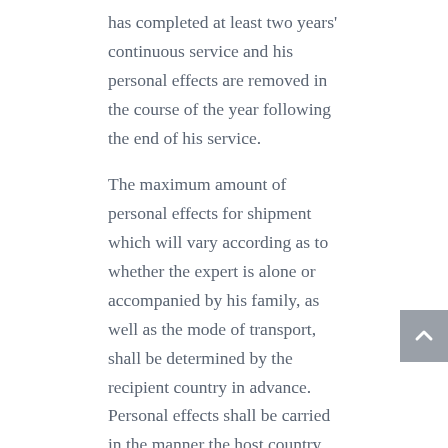has completed at least two years' continuous service and his personal effects are removed in the course of the year following the end of his service.
The maximum amount of personal effects for shipment which will vary according as to whether the expert is alone or accompanied by his family, as well as the mode of transport, shall be determined by the recipient country in advance. Personal effects shall be carried in the manner the host country deems most economical.
CHAPTER VII: MISCELLANEOUS PROVISIONS